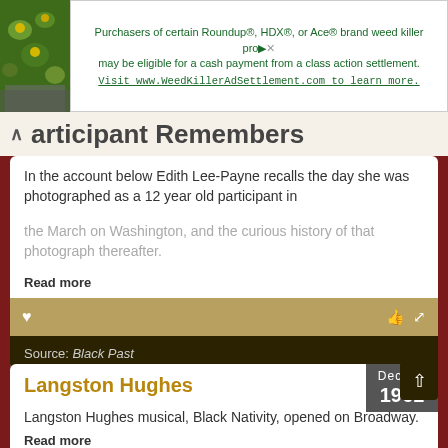[Figure (photo): Top-left corner photo of yellow flowers and green foliage on a stone background]
[Figure (screenshot): Advertisement banner: Purchasers of certain Roundup®, HDX®, or Ace® brand weed killer products may be eligible for a cash payment from a class action settlement. Visit www.WeedKillerAdSettlement.com to learn more.]
Participant Remembers
In the account below Edith Lee-Payne recalls the day she was photographed as a 12 year old participant in the March on Washington, and the curious history of that photograph thereafter.
Read more
Source: Black Past
Langston Hughes
Dec 11 1961
Langston Hughes musical, Black Nativity, opened on Broadway.
Read more
Source: Blackfacts.com